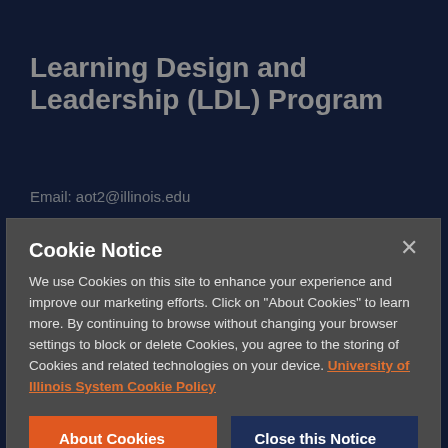Learning Design and Leadership (LDL) Program
Email: aot2@illinois.edu
Key Links
Cookie Notice
We use Cookies on this site to enhance your experience and improve our marketing efforts. Click on "About Cookies" to learn more. By continuing to browse without changing your browser settings to block or delete Cookies, you agree to the storing of Cookies and related technologies on your device. University of Illinois System Cookie Policy